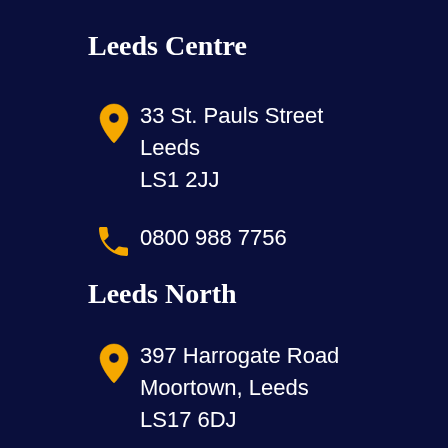Leeds Centre
33 St. Pauls Street
Leeds
LS1 2JJ
0800 988 7756
Leeds North
397 Harrogate Road
Moortown, Leeds
LS17 6DJ
0113 244 9931
Wakefield